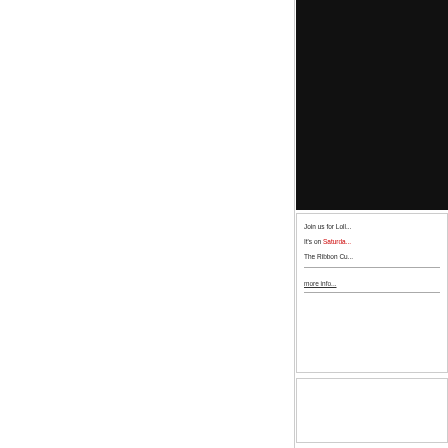[Figure (photo): Black rectangular image block in the upper right area of the page]
Join us for Loll...
It's on Saturday...
The Ribbon Cu...
more info...